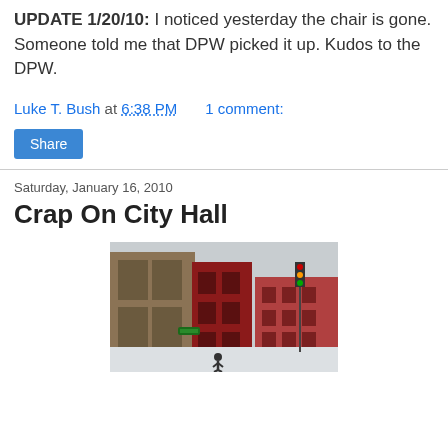UPDATE 1/20/10: I noticed yesterday the chair is gone. Someone told me that DPW picked it up. Kudos to the DPW.
Luke T. Bush at 6:38 PM    1 comment:
Share
Saturday, January 16, 2010
Crap On City Hall
[Figure (photo): Street scene photo showing city hall area with red brick buildings, snow on the ground, traffic lights, and a pedestrian visible. Winter urban scene.]